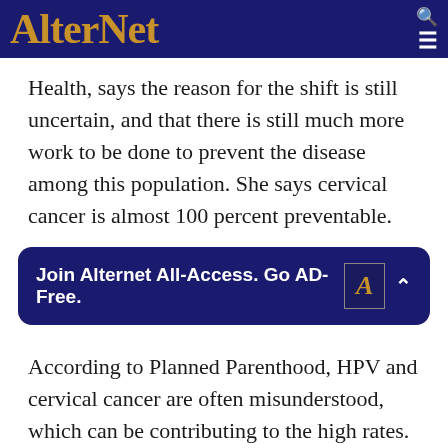AlterNet
Health, says the reason for the shift is still uncertain, and that there is still much more work to be done to prevent the disease among this population. She says cervical cancer is almost 100 percent preventable.
Join Alternet All-Access. Go AD-Free.
According to Planned Parenthood, HPV and cervical cancer are often misunderstood, which can be contributing to the high rates.